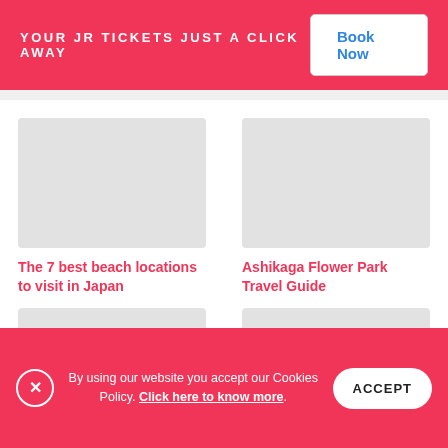YOUR JR TICKETS JUST A CLICK AWAY
The 7 best beach locations to visit in Japan
Ashikaga Flower Park Travel Guide
Best cherry blossom festivals and viewing
Skiing in Japan: Best ski and snowboarding resorts
By using our website you accept our Cookies Policy. Click here to know more.